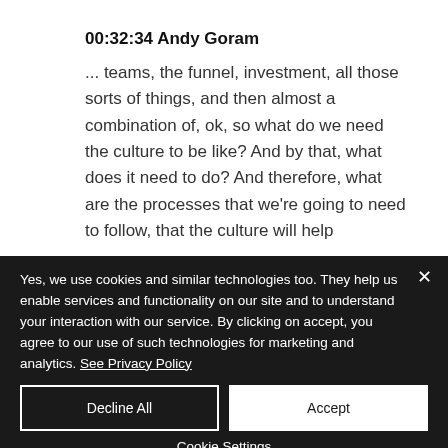00:32:34 Andy Goram
... teams, the funnel, investment, all those sorts of things, and then almost a combination of, ok, so what do we need the culture to be like?  And by that, what does it need to do? And therefore, what are the processes that we're going to need to follow, that the culture will help
Yes, we use cookies and similar technologies too. They help us enable services and functionality on our site and to understand your interaction with our service. By clicking on accept, you agree to our use of such technologies for marketing and analytics. See Privacy Policy
Decline All
Accept
Cookie Settings